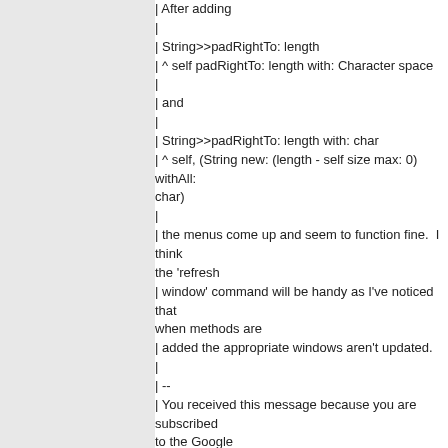| After adding
|
| String>>padRightTo: length
| ^ self padRightTo: length with: Character space
|
| and
|
| String>>padRightTo: length with: char
| ^ self, (String new: (length - self size max: 0) withAll: char)
|
| the menus come up and seem to function fine.  I think the 'refresh
| window' command will be handy as I've noticed that when methods are
| added the appropriate windows aren't updated.
|
| --
| You received this message because you are subscribed to the Google
| Groups "tODE" group.
| To unsubscribe from this group and stop receiving emails from it,
| send an email to [hidden email].
| For more options, visit https://groups.google.com/groups/opt_out.
|
--
You received this message because you are subscribed